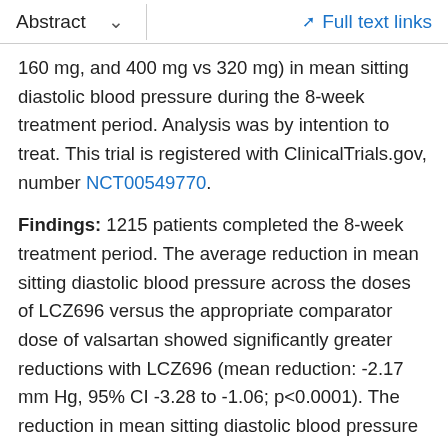Abstract   ∨   Full text links
160 mg, and 400 mg vs 320 mg) in mean sitting diastolic blood pressure during the 8-week treatment period. Analysis was by intention to treat. This trial is registered with ClinicalTrials.gov, number NCT00549770.
Findings: 1215 patients completed the 8-week treatment period. The average reduction in mean sitting diastolic blood pressure across the doses of LCZ696 versus the appropriate comparator dose of valsartan showed significantly greater reductions with LCZ696 (mean reduction: -2.17 mm Hg, 95% CI -3.28 to -1.06; p<0.0001). The reduction in mean sitting diastolic blood pressure was significantly different for 200 mg LCZ696 versus 160 mg valsartan (-2.97 mm Hg, 95% CI -4.88 to -1.07, p=0.0023) and for 400 mg LCZ696 versus 320 mg valsartan (-2.70 mm Hg, -4.61 to -0.80, p=0.0055). LCZ696 was well tolerated and no cases of angio-